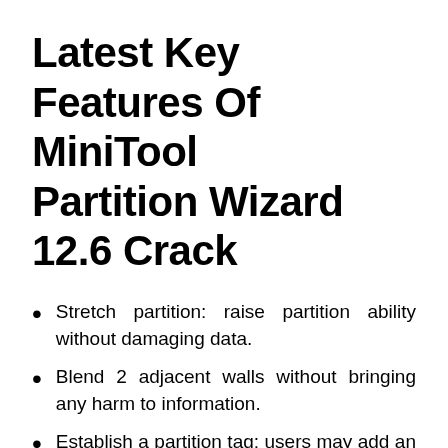Latest Key Features Of MiniTool Partition Wizard 12.6 Crack
Stretch partition: raise partition ability without damaging data.
Blend 2 adjacent walls without bringing any harm to information.
Establish a partition tag: users may add an annotation for partition based on real